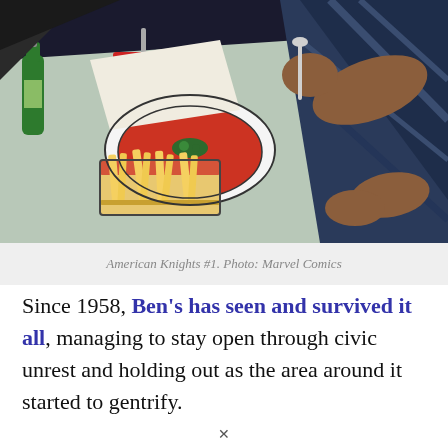[Figure (illustration): Comic book illustration from American Knights #1 (Marvel Comics) showing an overhead view of a diner table with a bowl of tomato soup, a cup with a straw, a green bottle, a basket of french fries, and a person in a dark blue jacket holding a spoon.]
American Knights #1. Photo: Marvel Comics
Since 1958, Ben's has seen and survived it all, managing to stay open through civic unrest and holding out as the area around it started to gentrify.